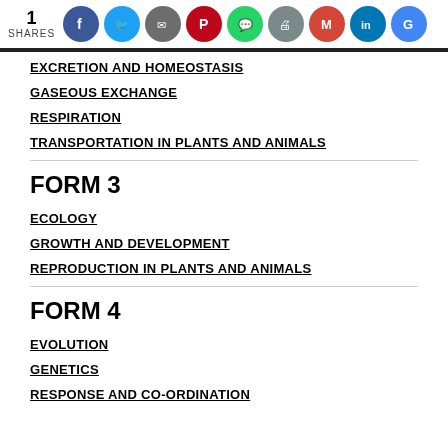[Figure (other): Social share bar with share count '1 SHARES' and social media icon buttons: Facebook, Twitter, email/share, Pinterest, WhatsApp, print, Gmail, LinkedIn, Google]
EXCRETION AND HOMEOSTASIS
GASEOUS EXCHANGE
RESPIRATION
TRANSPORTATION IN PLANTS AND ANIMALS
FORM 3
ECOLOGY
GROWTH AND DEVELOPMENT
REPRODUCTION IN PLANTS AND ANIMALS
FORM 4
EVOLUTION
GENETICS
RESPONSE AND CO-ORDINATION